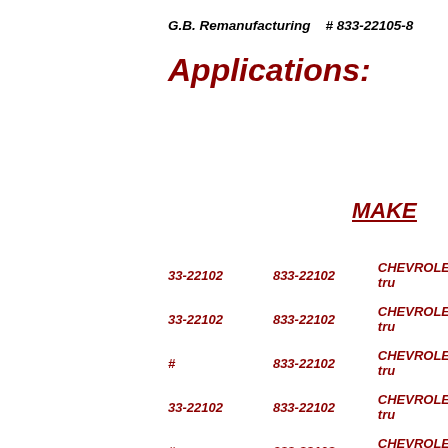G.B. Remanufacturing   # 833-22105-8
Applications:
MAKE
| Col1 | Col2 | MAKE |
| --- | --- | --- |
| 33-22102 | 833-22102 | CHEVROLET tru |
| 33-22102 | 833-22102 | CHEVROLET tru |
| # | 833-22102 | CHEVROLET tru |
| 33-22102 | 833-22102 | CHEVROLET tru |
| # | 833-22102 | CHEVROLET tru |
| 33-22102 | 833-22102 | CHEVROLET tru |
| 33-22102 | 833-22102 | CHEVROLET tru |
| 33-22102 | 833-22102 | CHEVROLET tru |
| 33-22102 | 833-22102 | CHEVROLET tru |